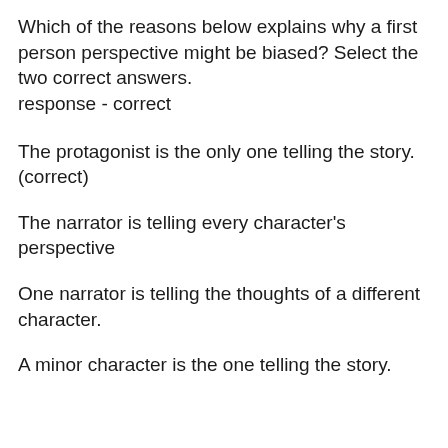Which of the reasons below explains why a first person perspective might be biased? Select the two correct answers.
response - correct
The protagonist is the only one telling the story.
(correct)
The narrator is telling every character's perspective
One narrator is telling the thoughts of a different character.
A minor character is the one telling the story.